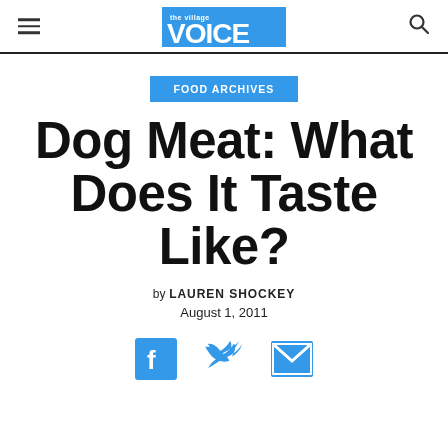The Village Voice
FOOD ARCHIVES
Dog Meat: What Does It Taste Like?
by LAUREN SHOCKEY
August 1, 2011
[Figure (other): Social sharing icons: Facebook, Twitter, Email]